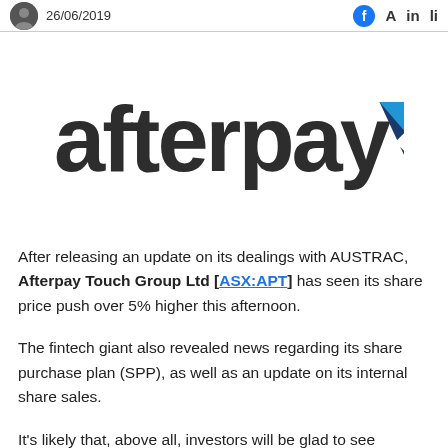26/06/2019
[Figure (logo): Afterpay logo — 'afterpay' in dark grey sans-serif with a blue triangular arrow icon to the right]
After releasing an update on its dealings with AUSTRAC, Afterpay Touch Group Ltd [ASX:APT] has seen its share price push over 5% higher this afternoon.
The fintech giant also revealed news regarding its share purchase plan (SPP), as well as an update on its internal share sales.
It's likely that, above all, investors will be glad to see